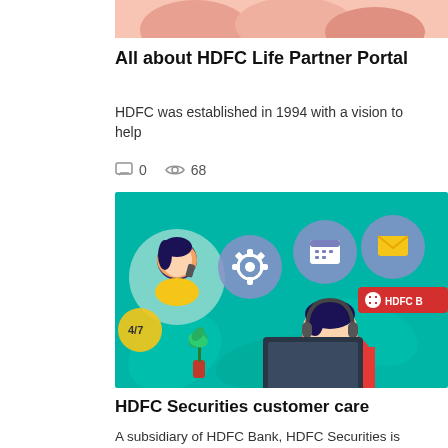[Figure (illustration): Top portion of an HDFC Life Partner Portal illustration, partially cropped at the top of the page]
All about HDFC Life Partner Portal
HDFC was established in 1994 with a vision to help
0   68
[Figure (illustration): HDFC Bank customer care illustration showing a man with headphones at a computer, a woman talking on phone, and icons for settings, calendar, and email on a teal background with 4/7 and HDFC B labels]
HDFC Securities customer care
A subsidiary of HDFC Bank, HDFC Securities is